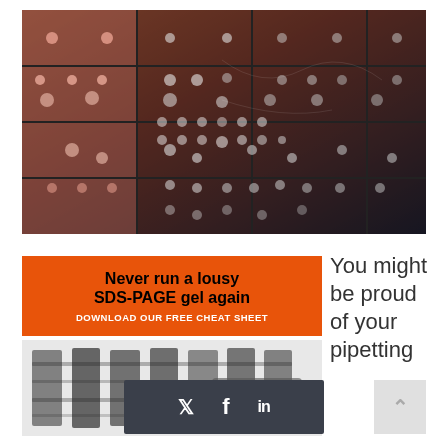[Figure (photo): Abstract digital world map visualization with glowing orange/red and dark tones, dots and grid lines on dark background]
[Figure (infographic): Orange banner advertisement: 'Never run a lousy SDS-PAGE gel again' with 'DOWNLOAD OUR FREE CHEAT SHEET' subtext]
[Figure (photo): Black and white gel electrophoresis photo showing protein bands in lanes, with a tablet device visible]
You might be proud of your pipetting
[Figure (infographic): Dark gray social media share bar with Twitter, Facebook, and LinkedIn icons]
[Figure (infographic): Light gray back-to-top button with upward arrow]